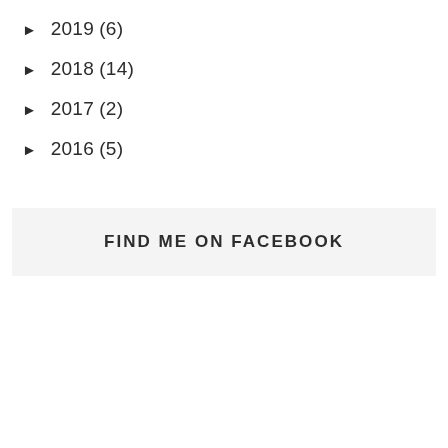► 2019 (6)
► 2018 (14)
► 2017 (2)
► 2016 (5)
FIND ME ON FACEBOOK